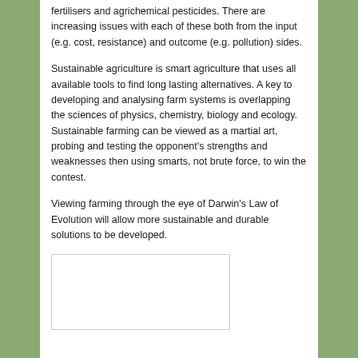fertilisers and agrichemical pesticides. There are increasing issues with each of these both from the input (e.g. cost, resistance) and outcome (e.g. pollution) sides.
Sustainable agriculture is smart agriculture that uses all available tools to find long lasting alternatives. A key to developing and analysing farm systems is overlapping the sciences of physics, chemistry, biology and ecology. Sustainable farming can be viewed as a martial art, probing and testing the opponent’s strengths and weaknesses then using smarts, not brute force, to win the contest.
Viewing farming through the eye of Darwin’s Law of Evolution will allow more sustainable and durable solutions to be developed.
[Figure (other): Empty white box with thin border, appears to be a placeholder image or diagram]